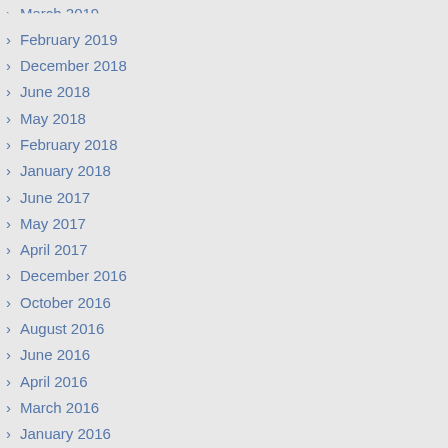March 2019
February 2019
December 2018
June 2018
May 2018
February 2018
January 2018
June 2017
May 2017
April 2017
December 2016
October 2016
August 2016
June 2016
April 2016
March 2016
January 2016
December 2015
November 2015
October 2015
July 2015
June 2015
May 2015
April 2015
March 2015
February 2015